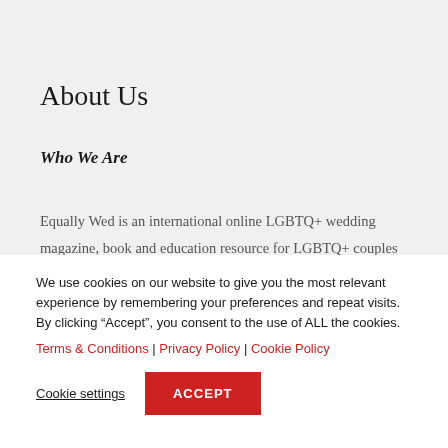About Us
Who We Are
Equally Wed is an international online LGBTQ+ wedding magazine, book and education resource for LGBTQ+ couples and LGBTQ+ inclusive wedding professionals. Within our inspirational content, we focus on wedding planning, real
We use cookies on our website to give you the most relevant experience by remembering your preferences and repeat visits. By clicking “Accept”, you consent to the use of ALL the cookies.
Terms & Conditions | Privacy Policy | Cookie Policy
Cookie settings  ACCEPT